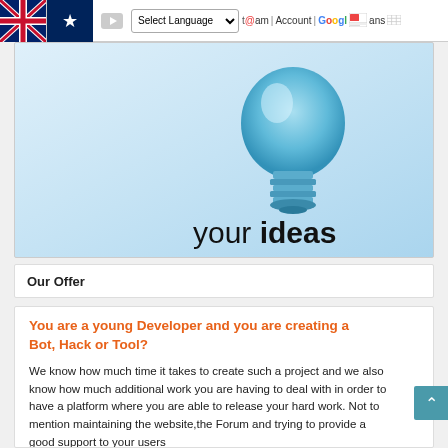Navigation bar with UK/AU flags, YouTube icon, Select Language dropdown, and nav links: t@am, Account, Google Translate
[Figure (illustration): Light bulb illustration on blue gradient background with text 'your ideas']
Our Offer
You are a young Developer and you are creating a Bot, Hack or Tool?
We know how much time it takes to create such a project and we also know how much additional work you are having to deal with in order to have a platform where you are able to release your hard work. Not to mention maintaining the website,the Forum and trying to provide a good support to your users